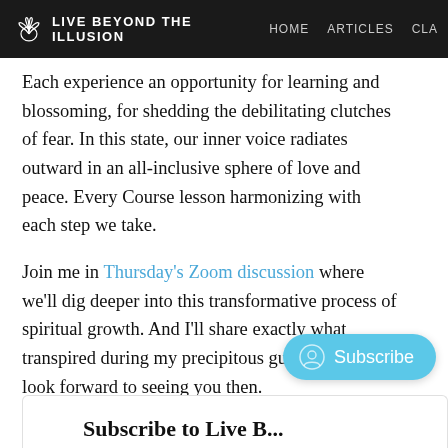LIVE BEYOND THE ILLUSION | HOME | ARTICLES | CLA
Each experience an opportunity for learning and blossoming, for shedding the debilitating clutches of fear. In this state, our inner voice radiates outward in an all-inclusive sphere of love and peace. Every Course lesson harmonizing with each step we take.
Join me in Thursday's Zoom discussion where we'll dig deeper into this transformative process of spiritual growth. And I'll share exactly what transpired during my precipitous guitar solo. I look forward to seeing you then.